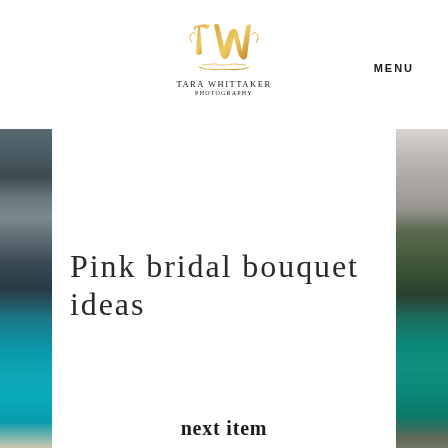[Figure (logo): Tara Whittaker Photography logo with gold TW monogram script and text]
MENU
[Figure (photo): Left vertical photo strip showing mountain landscape with teal blue lake]
[Figure (photo): Right vertical photo strip showing marble texture top and green forested lake bottom]
Pink bridal bouquet ideas
next item